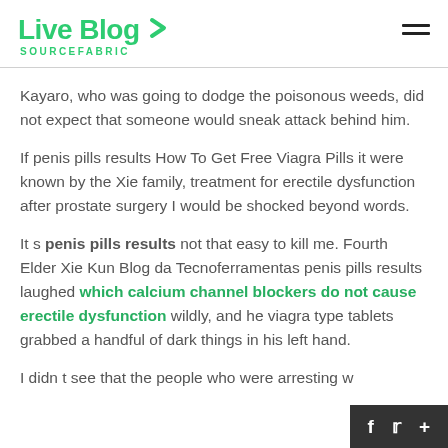Live Blog SOURCEFABRIC
Kayaro, who was going to dodge the poisonous weeds, did not expect that someone would sneak attack behind him.
If penis pills results How To Get Free Viagra Pills it were known by the Xie family, treatment for erectile dysfunction after prostate surgery I would be shocked beyond words.
It s penis pills results not that easy to kill me. Fourth Elder Xie Kun Blog da Tecnoferramentas penis pills results laughed which calcium channel blockers do not cause erectile dysfunction wildly, and he viagra type tablets grabbed a handful of dark things in his left hand.
I didn t see that the people who were arresting w